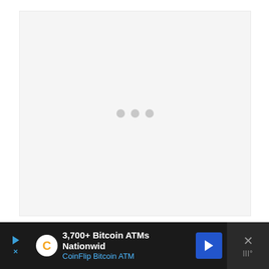[Figure (other): Loading placeholder with three grey dots centered on a light grey background]
What the actual hell, My NBC 15:
[Figure (other): Advertisement bar: 3,700+ Bitcoin ATMs Nationwid | CoinFlip Bitcoin ATM with play button, CoinFlip logo, blue arrow button, and close X]